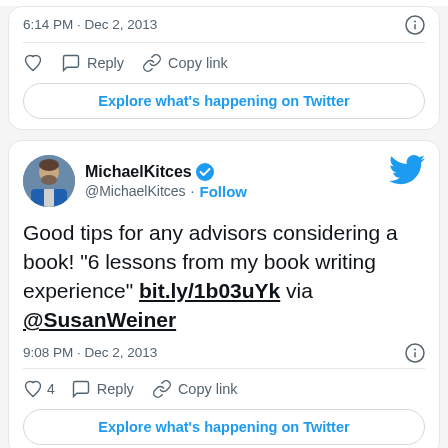6:14 PM · Dec 2, 2013
[Figure (screenshot): Twitter action row with heart, Reply, Copy link icons and Explore what's happening on Twitter button]
[Figure (screenshot): Twitter tweet card from MichaelKitces (@MichaelKitces) with Follow button and Twitter bird logo. Tweet text: Good tips for any advisors considering a book! "6 lessons from my book writing experience" bit.ly/1b03uYk via @SusanWeiner. Timestamp: 9:08 PM · Dec 2, 2013. 4 likes, Reply, Copy link actions, Explore what's happening on Twitter button.]